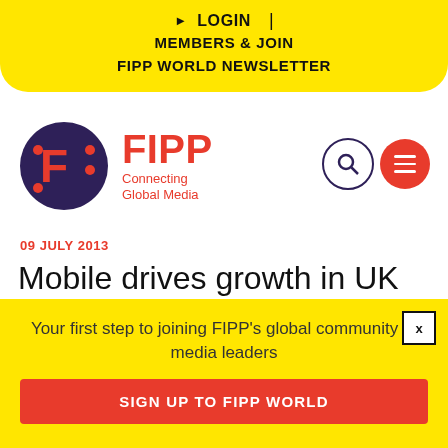LOGIN | MEMBERS & JOIN FIPP WORLD NEWSLETTER
[Figure (logo): FIPP logo: dark purple circle with stylized F letter in red/orange, next to FIPP wordmark in red with tagline 'Connecting Global Media']
09 JULY 2013
Mobile drives growth in UK advertising spend
Your first step to joining FIPP's global community of media leaders
SIGN UP TO FIPP WORLD